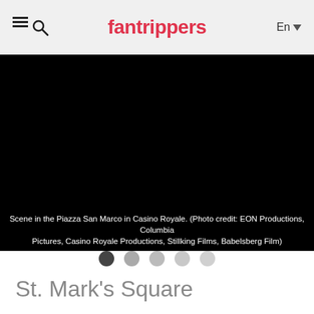fantrippers | En
[Figure (photo): Black image representing a scene in the Piazza San Marco in Casino Royale]
Scene in the Piazza San Marco in Casino Royale. (Photo credit: EON Productions, Columbia Pictures, Casino Royale Productions, Stillking Films, Babelsberg Film)
St. Mark's Square